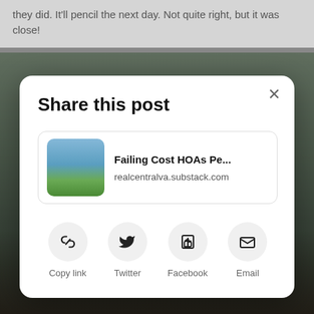they did. It'll pencil the next day. Not quite right, but it was close!
[Figure (screenshot): Share this post modal dialog overlay on a blurred background photo of a landscape with a dog. Modal contains a link preview card for 'Failing Cost HOAs Pe...' at realcentralva.substack.com, and share buttons for Copy link, Twitter, Facebook, and Email.]